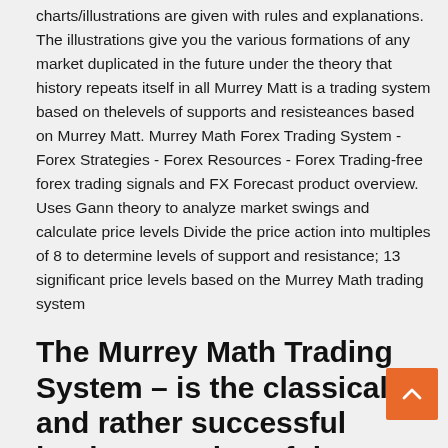charts/illustrations are given with rules and explanations. The illustrations give you the various formations of any market duplicated in the future under the theory that history repeats itself in all Murrey Matt is a trading system based on thelevels of supports and resisteances based on Murrey Matt. Murrey Math Forex Trading System - Forex Strategies - Forex Resources - Forex Trading-free forex trading signals and FX Forecast product overview. Uses Gann theory to analyze market swings and calculate price levels Divide the price action into multiples of 8 to determine levels of support and resistance; 13 significant price levels based on the Murrey Math trading system
The Murrey Math Trading System – is the classical and rather successful implementation of the